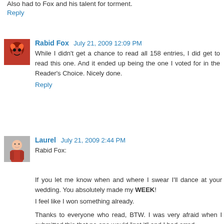Also had to Fox and his talent for torment.
Reply
Rabid Fox  July 21, 2009 12:09 PM
While I didn't get a chance to read all 158 entries, I did get to read this one. And it ended up being the one I voted for in the Reader's Choice. Nicely done.
Reply
Laurel  July 21, 2009 2:44 PM
Rabid Fox:
If you let me know when and where I swear I'll dance at your wedding. You absolutely made my WEEK!
I feel like I won something already.
Thanks to everyone who read, BTW. I was very afraid when I submitted this that no one would "get it" and I had erred